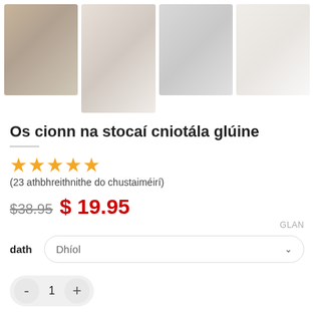[Figure (photo): Four product photos of white knitted over-the-knee socks displayed side by side]
Os cionn na stocaí cniotála glúine
[Figure (other): Five yellow star rating icons]
(23 athbhreithnithe do chustaiméirí)
$38.95  $ 19.95
GLAN
dath   Dhíol
- 1 +
CUIR LEIS AN TRALAÍ